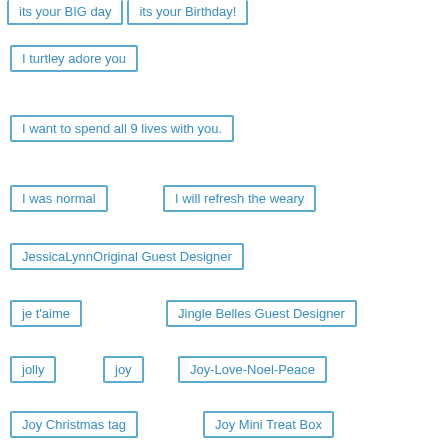its your BIG day
its your Birthday!
I turtley adore you
I want to spend all 9 lives with you.
I was normal
I will refresh the weary
JessicaLynnOriginal Guest Designer
je t'aime
Jingle Belles Guest Designer
jolly
joy
Joy-Love-Noel-Peace
Joy Christmas tag
Joy Mini Treat Box
just a hello
Just A Little Note note cards
Just A Note...
Just A Note Vintage Notelets (set of 8)